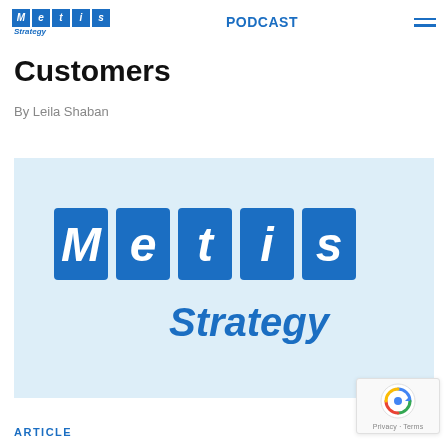Metis Strategy — PODCAST
Customers
By Leila Shaban
[Figure (logo): Metis Strategy logo — five blue square tiles spelling M, e, t, i, s with 'Strategy' in italic blue text below, on a light blue background.]
ARTICLE